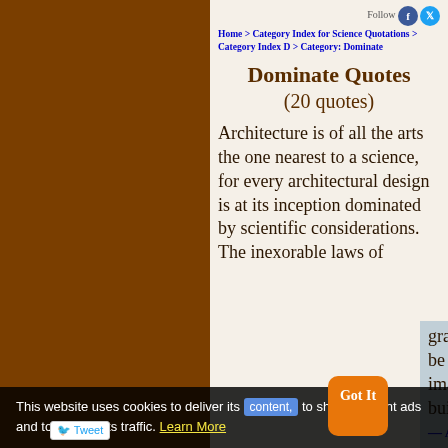Follow | Home > Category Index for Science Quotations > Category Index D > Category: Dominate
Dominate Quotes (20 quotes)
Architecture is of all the arts the one nearest to a science, for every architectural design is at its inception dominated by scientific considerations. The inexorable laws of gravitation and of statics must be satisfied by even the most imaginative architect in building. — Anonymous
This website uses cookies to deliver its content, to show relevant ads and to analyze its traffic. Learn More